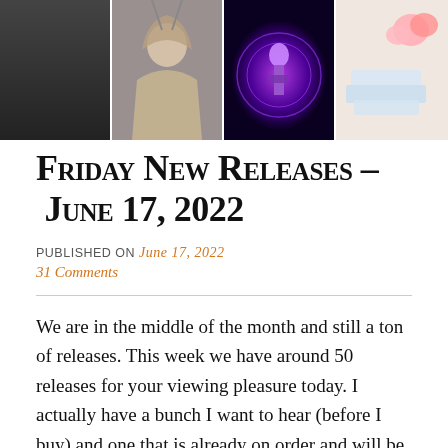[Figure (photo): Header strip of four images: a man in dark jacket (album/artist cover), a tattooed figure with wings, a neon purple performer with guitar, and a still life with roses and fabric.]
Friday New Releases – June 17, 2022
PUBLISHED ON June 17, 2022
31 Comments
We are in the middle of the month and still a ton of releases. This week we have around 50 releases for your viewing pleasure today. I actually have a bunch I want to hear (before I buy) and one that is already on order and will be here today. Those are first up and marked in Blue. Let me know what you are digging this week and what we may have missed as that does happen. Thanks